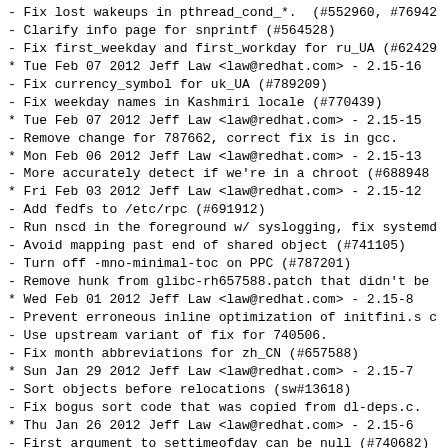- Fix lost wakeups in pthread_cond_*.  (#552960, #76942
- Clarify info page for snprintf (#564528)
- Fix first_weekday and first_workday for ru_UA (#62429
* Tue Feb 07 2012 Jeff Law <law@redhat.com> - 2.15-16
- Fix currency_symbol for uk_UA (#789209)
- Fix weekday names in Kashmiri locale (#770439)
* Tue Feb 07 2012 Jeff Law <law@redhat.com> - 2.15-15
- Remove change for 787662, correct fix is in gcc.
* Mon Feb 06 2012 Jeff Law <law@redhat.com> - 2.15-13
- More accurately detect if we're in a chroot (#688948
* Fri Feb 03 2012 Jeff Law <law@redhat.com> - 2.15-12
- Add fedfs to /etc/rpc (#691912)
- Run nscd in the foreground w/ syslogging, fix systemd
- Avoid mapping past end of shared object (#741105)
- Turn off -mno-minimal-toc on PPC (#787201)
- Remove hunk from glibc-rh657588.patch that didn't be
* Wed Feb 01 2012 Jeff Law <law@redhat.com> - 2.15-8
- Prevent erroneous inline optimization of initfini.s c
- Use upstream variant of fix for 740506.
- Fix month abbreviations for zh_CN (#657588)
* Sun Jan 29 2012 Jeff Law <law@redhat.com> - 2.15-7
- Sort objects before relocations (sw#13618)
- Fix bogus sort code that was copied from dl-deps.c.
* Thu Jan 26 2012 Jeff Law <law@redhat.com> - 2.15-6
- First argument to settimeofday can be null (#740682)
- Add aliases for ISO-10646-UCS-2 (#697421)
* Tue Jan 24 2012 Jeff Law <law@redhat.com> - 2.15-4
- Update ports from master.
- Fix first workday/weekday for it_IT (#622499)
- Fix type to uint16_t based on upstream comments (7290